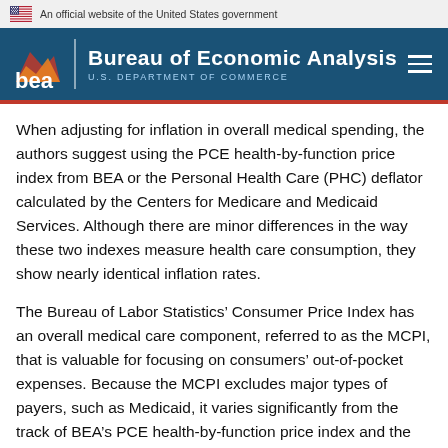An official website of the United States government
Bureau of Economic Analysis U.S. DEPARTMENT OF COMMERCE
When adjusting for inflation in overall medical spending, the authors suggest using the PCE health-by-function price index from BEA or the Personal Health Care (PHC) deflator calculated by the Centers for Medicare and Medicaid Services. Although there are minor differences in the way these two indexes measure health care consumption, they show nearly identical inflation rates.
The Bureau of Labor Statistics’ Consumer Price Index has an overall medical care component, referred to as the MCPI, that is valuable for focusing on consumers’ out-of-pocket expenses. Because the MCPI excludes major types of payers, such as Medicaid, it varies significantly from the track of BEA’s PCE health-by-function price index and the Centers for Medicare and Medicaid Services’ PHC price index.